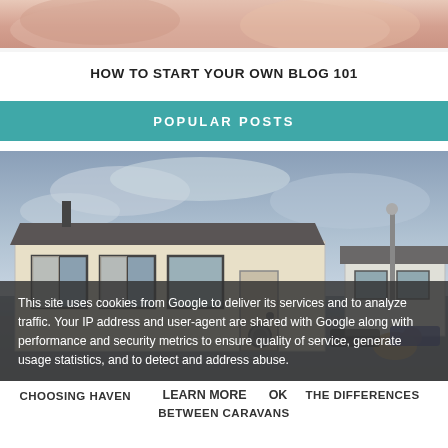[Figure (photo): Close-up photo of hands, cropped at top of page]
HOW TO START YOUR OWN BLOG 101
POPULAR POSTS
[Figure (photo): Photo of static caravans/mobile homes on a holiday park with cloudy sky]
This site uses cookies from Google to deliver its services and to analyze traffic. Your IP address and user-agent are shared with Google along with performance and security metrics to ensure quality of service, generate usage statistics, and to detect and address abuse.
LEARN MORE
OK
CHOOSING HAVEN STATIC CARAVANS: THE DIFFERENCES BETWEEN CARAVANS